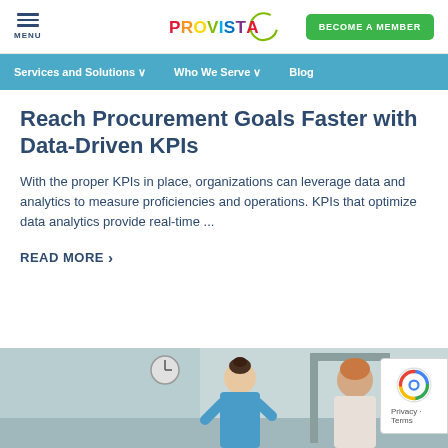MENU | PROVISTA | BECOME A MEMBER
Services and Solutions | Who We Serve | Blog
Reach Procurement Goals Faster with Data-Driven KPIs
With the proper KPIs in place, organizations can leverage data and analytics to measure proficiencies and operations. KPIs that optimize data analytics provide real-time ...
READ MORE >
[Figure (photo): Healthcare professional in blue scrubs speaking with a patient, with a clock on the wall in the background]